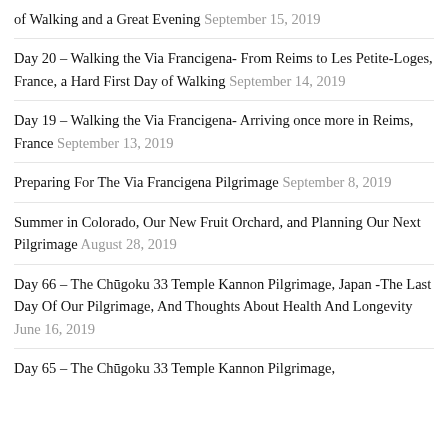of Walking and a Great Evening September 15, 2019
Day 20 – Walking the Via Francigena- From Reims to Les Petite-Loges, France, a Hard First Day of Walking September 14, 2019
Day 19 – Walking the Via Francigena- Arriving once more in Reims, France September 13, 2019
Preparing For The Via Francigena Pilgrimage September 8, 2019
Summer in Colorado, Our New Fruit Orchard, and Planning Our Next Pilgrimage August 28, 2019
Day 66 – The Chūgoku 33 Temple Kannon Pilgrimage, Japan -The Last Day Of Our Pilgrimage, And Thoughts About Health And Longevity June 16, 2019
Day 65 – The Chūgoku 33 Temple Kannon Pilgrimage,